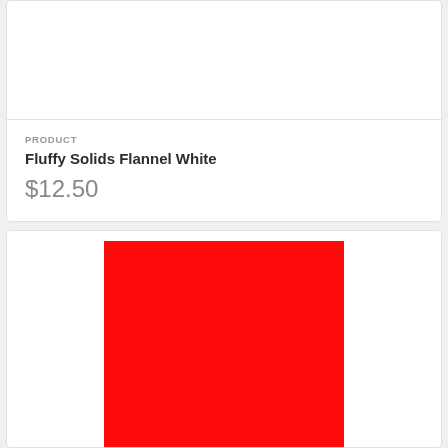PRODUCT
Fluffy Solids Flannel White
$12.50
[Figure (photo): Solid red fabric swatch image below product card]